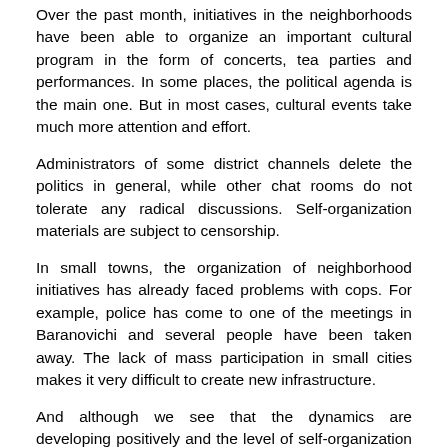Over the past month, initiatives in the neighborhoods have been able to organize an important cultural program in the form of concerts, tea parties and performances. In some places, the political agenda is the main one. But in most cases, cultural events take much more attention and effort.
Administrators of some district channels delete the politics in general, while other chat rooms do not tolerate any radical discussions. Self-organization materials are subject to censorship.
In small towns, the organization of neighborhood initiatives has already faced problems with cops. For example, police has come to one of the meetings in Baranovichi and several people have been taken away. The lack of mass participation in small cities makes it very difficult to create new infrastructure.
And although we see that the dynamics are developing positively and the level of self-organization is increasing day by day, neighborhood structures lack the initiative to develop into a critical mass. And if this critical mass cannot be reached before the police begins to travel through the districts and detain the activists, the assemblies movement awaits the fate of other protest initiatives, which are relatively quickly dying out under the regime's intense repression.